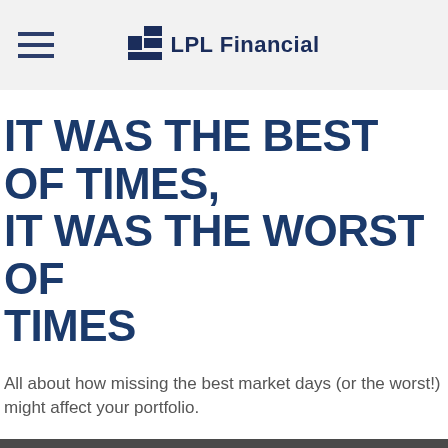LPL Financial
IT WAS THE BEST OF TIMES, IT WAS THE WORST OF TIMES
All about how missing the best market days (or the worst!) might affect your portfolio.